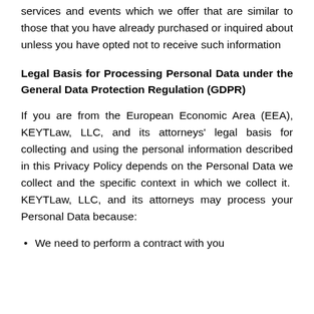services and events which we offer that are similar to those that you have already purchased or inquired about unless you have opted not to receive such information
Legal Basis for Processing Personal Data under the General Data Protection Regulation (GDPR)
If you are from the European Economic Area (EEA), KEYTLaw, LLC, and its attorneys' legal basis for collecting and using the personal information described in this Privacy Policy depends on the Personal Data we collect and the specific context in which we collect it. KEYTLaw, LLC, and its attorneys may process your Personal Data because:
We need to perform a contract with you